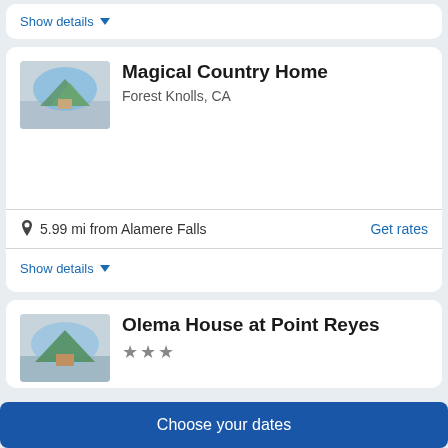Show details ▾
Magical Country Home
Forest Knolls, CA
5.99 mi from Alamere Falls
Get rates
Show details ▾
Olema House at Point Reyes
★★★
Choose your dates